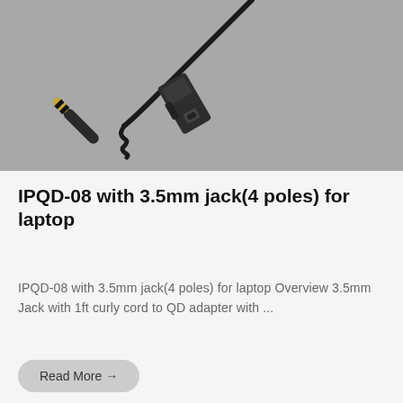[Figure (photo): Product photo of IPQD-08 cable with 3.5mm jack (4 poles) and QD adapter connector, black cable on grey background]
IPQD-08 with 3.5mm jack(4 poles) for laptop
IPQD-08 with 3.5mm jack(4 poles) for laptop Overview 3.5mm Jack with 1ft curly cord to QD adapter with ...
Read More →